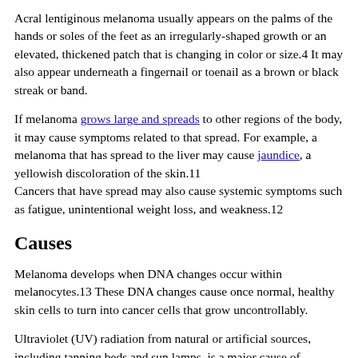Acral lentiginous melanoma usually appears on the palms of the hands or soles of the feet as an irregularly-shaped growth or an elevated, thickened patch that is changing in color or size.4 It may also appear underneath a fingernail or toenail as a brown or black streak or band.
If melanoma grows large and spreads to other regions of the body, it may cause symptoms related to that spread. For example, a melanoma that has spread to the liver may cause jaundice, a yellowish discoloration of the skin.11 Cancers that have spread may also cause systemic symptoms such as fatigue, unintentional weight loss, and weakness.12
Causes
Melanoma develops when DNA changes occur within melanocytes.13 These DNA changes cause once normal, healthy skin cells to turn into cancer cells that grow uncontrollably.
Ultraviolet (UV) radiation from natural or artificial sources, including tanning beds and sun lamps, is a major cause of melanoma, as UV rays can directly damage the DNA within skin cells.1